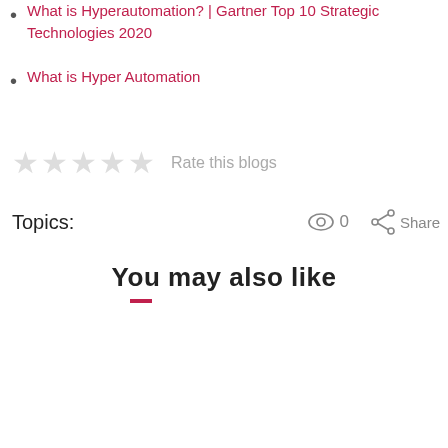What is Hyperautomation? | Gartner Top 10 Strategic Technologies 2020
What is Hyper Automation
Rate this blogs
Topics:  0  Share
You may also like